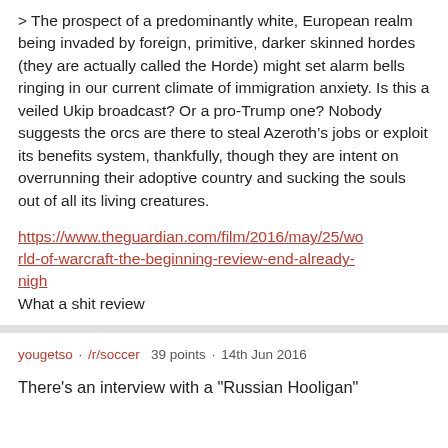> The prospect of a predominantly white, European realm being invaded by foreign, primitive, darker skinned hordes (they are actually called the Horde) might set alarm bells ringing in our current climate of immigration anxiety. Is this a veiled Ukip broadcast? Or a pro-Trump one? Nobody suggests the orcs are there to steal Azeroth’s jobs or exploit its benefits system, thankfully, though they are intent on overrunning their adoptive country and sucking the souls out of all its living creatures.
https://www.theguardian.com/film/2016/may/25/world-of-warcraft-the-beginning-review-end-already-nigh
What a shit review
yougetso · /r/soccer  39 points · 14th Jun 2016
There's an interview with a "Russian Hooligan"